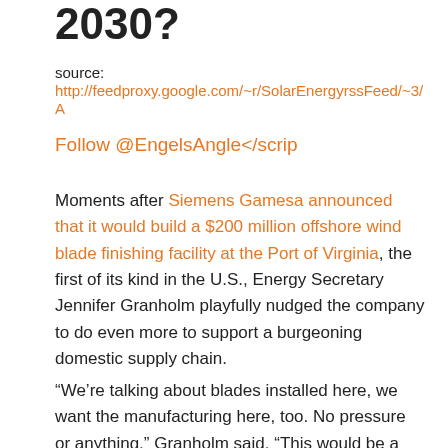2030?
source:
http://feedproxy.google.com/~r/SolarEnergyrssFeed/~3/A
Follow @EngelsAngle</scrip
Moments after Siemens Gamesa announced that it would build a $200 million offshore wind blade finishing facility at the Port of Virginia, the first of its kind in the U.S., Energy Secretary Jennifer Granholm playfully nudged the company to do even more to support a burgeoning domestic supply chain.
“We’re talking about blades installed here, we want the manufacturing here, too. No pressure or anything,” Granholm said. “This would be a great